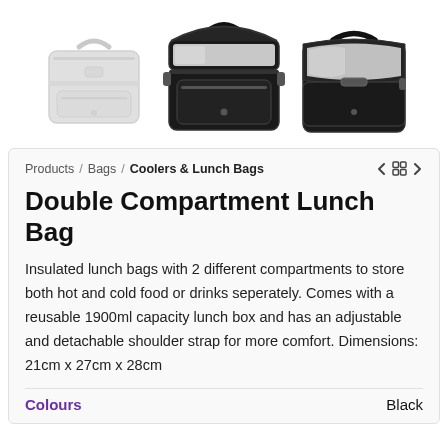[Figure (photo): Three views of a Double Compartment Lunch Bag: left is a light grey/ghost version, center shows the black bag open at the top revealing silver lining, right shows the black bag open from the front revealing silver lining.]
Products / Bags / Coolers & Lunch Bags
Double Compartment Lunch Bag
Insulated lunch bags with 2 different compartments to store both hot and cold food or drinks seperately. Comes with a reusable 1900ml capacity lunch box and has an adjustable and detachable shoulder strap for more comfort. Dimensions: 21cm x 27cm x 28cm
Colours    Black